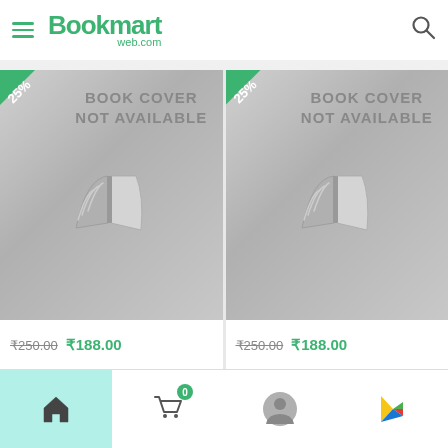Bookmart web.com
[Figure (screenshot): Two book product cards each showing 'BOOK COVER NOT AVAILABLE' placeholder with 25% discount badge, original price ₹250.00 and sale price ₹188.00]
Home | Cart (0) | Profile | Play Store